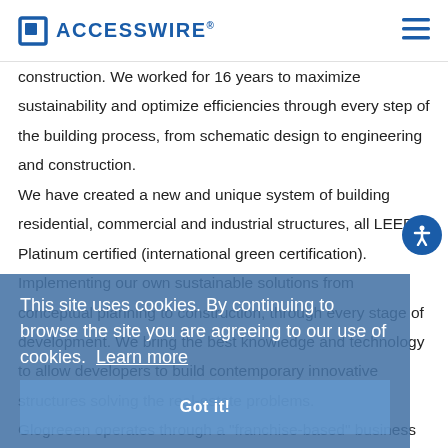ACCESSWIRE
construction. We worked for 16 years to maximize sustainability and optimize efficiencies through every step of the building process, from schematic design to engineering and construction.

We have created a new and unique system of building residential, commercial and industrial structures, all LEED Platinum certified (international green certification). Implementing our own sustainable solutions from conceptual planning to construction, through every stage of development. We bring the best knowledge and technology to allow developers to build contemporary innovative structures solving the real-estate problems.

Glogreeen operates through a "franchise-based" business model, offering licenses to developers worldwide.
This site uses cookies. By continuing to browse the site you are agreeing to our use of cookies.  Learn more

Got it!